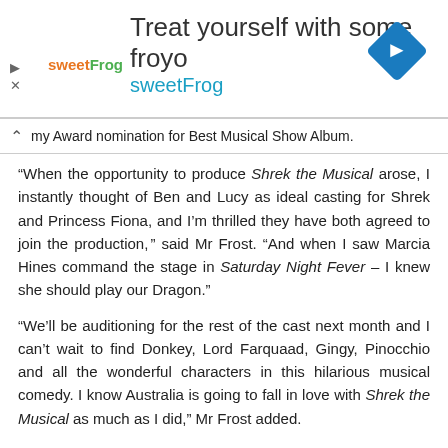[Figure (other): SweetFrog frozen yogurt advertisement banner with logo, tagline 'Treat yourself with some froyo', brand name 'sweetFrog', and a blue diamond-shaped navigation icon on the right.]
my Award nomination for Best Musical Show Album.
“When the opportunity to produce Shrek the Musical arose, I instantly thought of Ben and Lucy as ideal casting for Shrek and Princess Fiona, and I’m thrilled they have both agreed to join the production, ” said Mr Frost. “And when I saw Marcia Hines command the stage in Saturday Night Fever – I knew she should play our Dragon.”
“We’ll be auditioning for the rest of the cast next month and I can’t wait to find Donkey, Lord Farquaad, Gingy, Pinocchio and all the wonderful characters in this hilarious musical comedy. I know Australia is going to fall in love with Shrek the Musical as much as I did,” Mr Frost added.
Shrek the Musical plays the Sydney Lyric Theatre from 1 January